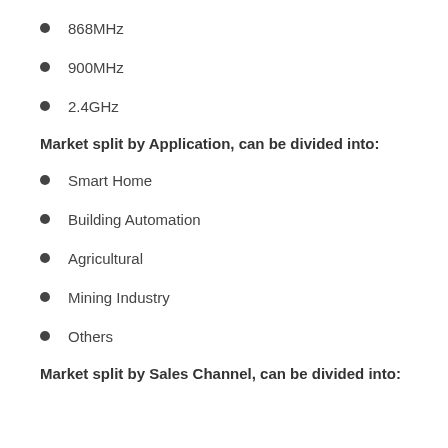868MHz
900MHz
2.4GHz
Market split by Application, can be divided into:
Smart Home
Building Automation
Agricultural
Mining Industry
Others
Market split by Sales Channel, can be divided into: